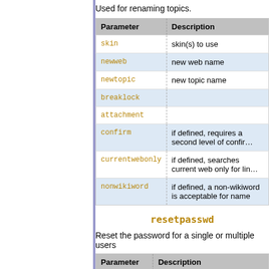Used for renaming topics.
| Parameter | Description |
| --- | --- |
| skin | skin(s) to use |
| newweb | new web name |
| newtopic | new topic name |
| breaklock |  |
| attachment |  |
| confirm | if defined, requires a second level of confir… |
| currentwebonly | if defined, searches current web only for lin… |
| nonwikiword | if defined, a non-wikiword is acceptable for name |
resetpasswd
Reset the password for a single or multiple users
| Parameter | Description |
| --- | --- |
| LoginName | list of usernames to reset |